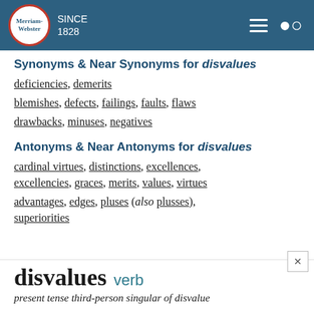Merriam-Webster SINCE 1828
Synonyms & Near Synonyms for disvalues
deficiencies, demerits
blemishes, defects, failings, faults, flaws
drawbacks, minuses, negatives
Antonyms & Near Antonyms for disvalues
cardinal virtues, distinctions, excellences, excellencies, graces, merits, values, virtues
advantages, edges, pluses (also plusses), superiorities
disvalues verb
present tense third-person singular of disvalue